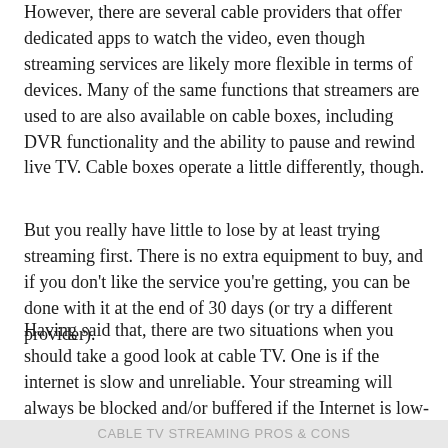However, there are several cable providers that offer dedicated apps to watch the video, even though streaming services are likely more flexible in terms of devices. Many of the same functions that streamers are used to are also available on cable boxes, including DVR functionality and the ability to pause and rewind live TV. Cable boxes operate a little differently, though.
But you really have little to lose by at least trying streaming first. There is no extra equipment to buy, and if you don't like the service you're getting, you can be done with it at the end of 30 days (or try a different provider).
Having said that, there are two situations when you should take a good look at cable TV. One is if the internet is slow and unreliable. Your streaming will always be blocked and/or buffered if the Internet is low-quality in your area. Second, if you only watch specific channels on cable that are not available on streaming platforms, news for instance, then cable is the better option.